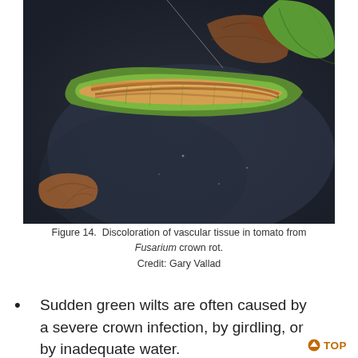[Figure (photo): Close-up photograph showing discoloration of vascular tissue in a tomato plant stem caused by Fusarium crown rot. The stem is cut open revealing brown/tan internal discoloration against dark background with dried brown leaf material visible.]
Figure 14.  Discoloration of vascular tissue in tomato from Fusarium crown rot.
Credit: Gary Vallad
Sudden green wilts are often caused by a severe crown infection, by girdling, or by inadequate water.